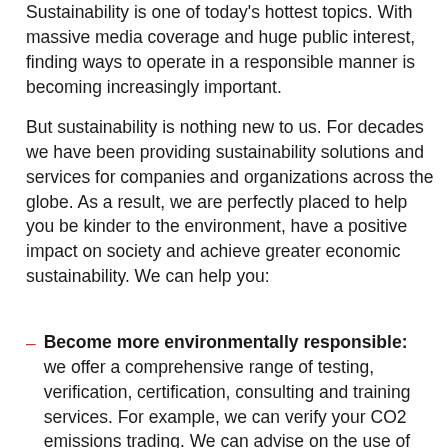Sustainability is one of today's hottest topics. With massive media coverage and huge public interest, finding ways to operate in a responsible manner is becoming increasingly important.
But sustainability is nothing new to us. For decades we have been providing sustainability solutions and services for companies and organizations across the globe. As a result, we are perfectly placed to help you be kinder to the environment, have a positive impact on society and achieve greater economic sustainability. We can help you:
Become more environmentally responsible: we offer a comprehensive range of testing, verification, certification, consulting and training services. For example, we can verify your CO2 emissions trading. We can advise on the use of wind energy, test soil and water for contaminants, check air